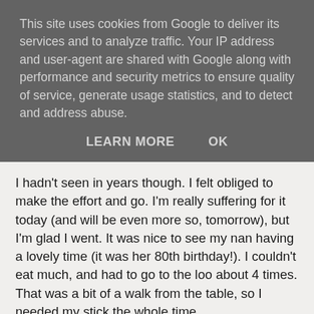This site uses cookies from Google to deliver its services and to analyze traffic. Your IP address and user-agent are shared with Google along with performance and security metrics to ensure quality of service, generate usage statistics, and to detect and address abuse.
LEARN MORE   OK
I hadn't seen in years though. I felt obliged to make the effort and go. I'm really suffering for it today (and will be even more so, tomorrow), but I'm glad I went. It was nice to see my nan having a lovely time (it was her 80th birthday!). I couldn't eat much, and had to go to the loo about 4 times. That was a bit of a walk from the table, so I needed my stick the whole time.
I worried about what certain relatives would say about my stick. The last time some of them saw me, I wasn't needing to use it (or had too much internalised ableism to, I don't know). I don't think my invisible illness was so invisible this time however. I know I was visibly shaking, when I got there. Some of my relatives asked a few questions, but they were really understanding. No really awkward comments, which I